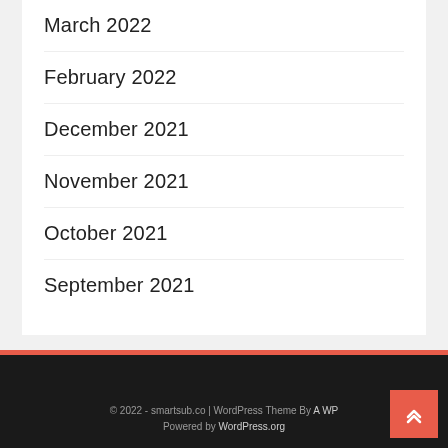March 2022
February 2022
December 2021
November 2021
October 2021
September 2021
© 2022 - smartsub.co | WordPress Theme By A WP… Powered by WordPress.org